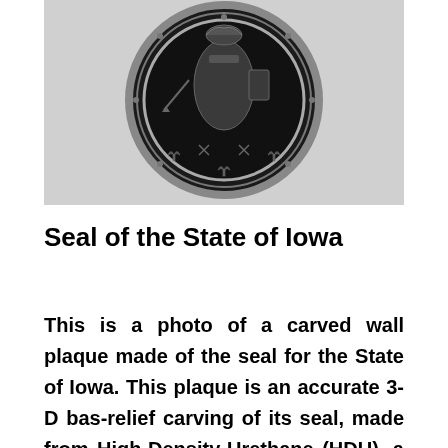[Figure (photo): Black and white photograph of a circular carved wall plaque showing the Seal of the State of Iowa — a detailed bas-relief with figures, an eagle, and decorative elements around the border.]
Seal of the State of Iowa
This is a photo of a carved wall plaque made of the seal for the State of Iowa. This plaque is an accurate 3-D bas-relief carving of its seal, made from High-Density-Urethane (HDU), a synthetic wood material used extensively by the sign industry for carved signs. The border can be modified with text for a